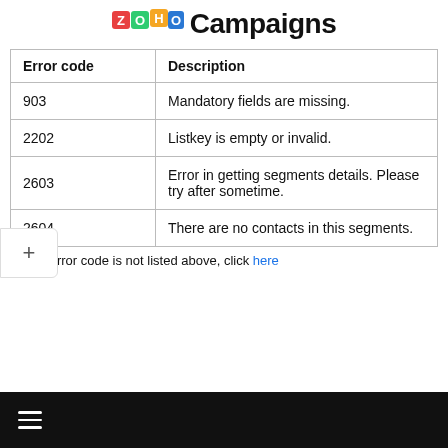ZOHO Campaigns
| Error code | Description |
| --- | --- |
| 903 | Mandatory fields are missing. |
| 2202 | Listkey is empty or invalid. |
| 2603 | Error in getting segments details. Please try after sometime. |
| 2604 | There are no contacts in this segments. |
If your error code is not listed above, click here